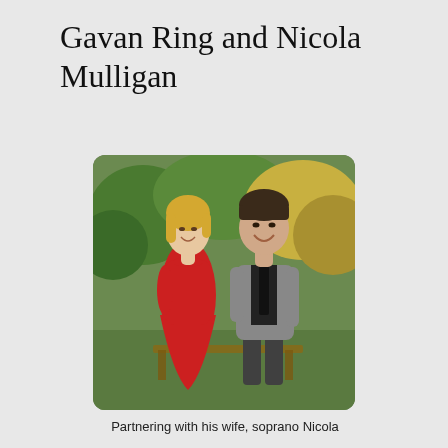Gavan Ring and Nicola Mulligan
[Figure (photo): A man and a woman sitting on a bench outdoors. The woman is on the left wearing a red dress with blonde hair, and the man is on the right wearing a grey suit with a black shirt and tie, both smiling. Green foliage is visible in the background.]
Partnering with his wife, soprano Nicola